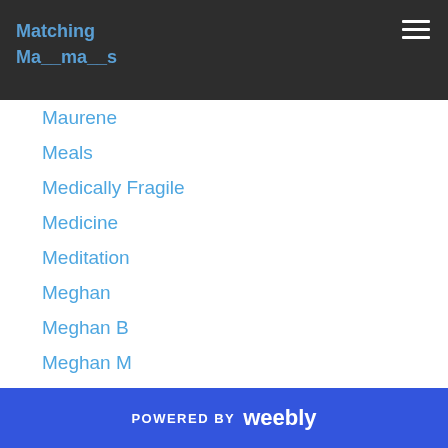Matching
Ma__ma__s
Maurene
Meals
Medically Fragile
Medicine
Meditation
Meghan
Meghan B
Meghan M
Meghan S
Melinda Lancaster
Melissa
Melissa G
Melissa Thurber
Mgotl
Military-parents
POWERED BY weebly